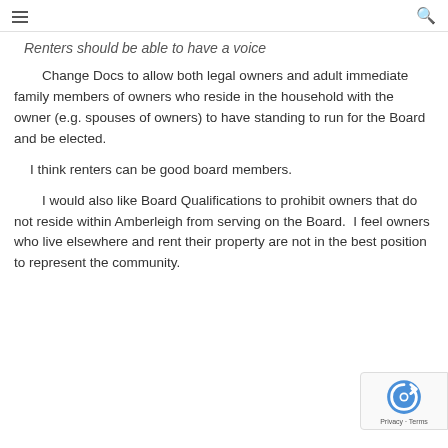Renters should be able to have a voice
Change Docs to allow both legal owners and adult immediate family members of owners who reside in the household with the owner (e.g. spouses of owners) to have standing to run for the Board and be elected.
I think renters can be good board members.
I would also like Board Qualifications to prohibit owners that do not reside within Amberleigh from serving on the Board.  I feel owners who live elsewhere and rent their property are not in the best position to represent the community.